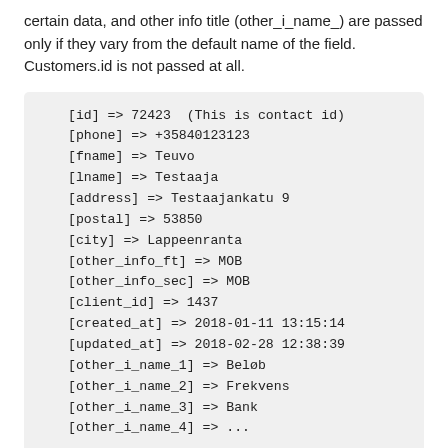certain data, and other info title (other_i_name_) are passed only if they vary from the default name of the field. Customers.id is not passed at all.
[id] => 72423  (This is contact id)
[phone] => +35840123123
[fname] => Teuvo
[lname] => Testaaja
[address] => Testaajankatu 9
[postal] => 53850
[city] => Lappeenranta
[other_info_ft] => MOB
[other_info_sec] => MOB
[client_id] => 1437
[created_at] => 2018-01-11 13:15:14
[updated_at] => 2018-02-28 12:38:39
[other_i_name_1] => Beløb
[other_i_name_2] => Frekvens
[other_i_name_3] => Bank
[other_i_name_4] => ...